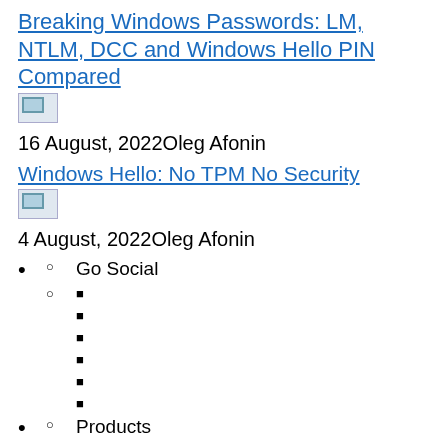Breaking Windows Passwords: LM, NTLM, DCC and Windows Hello PIN Compared
[Figure (photo): Broken/missing image placeholder]
16 August, 2022Oleg Afonin
Windows Hello: No TPM No Security
[Figure (photo): Broken/missing image placeholder]
4 August, 2022Oleg Afonin
Go Social
■
■
■
■
■
■
Products
All Products
Downloads
Purchase
Elcomsoft Updater
Events
Upcoming events